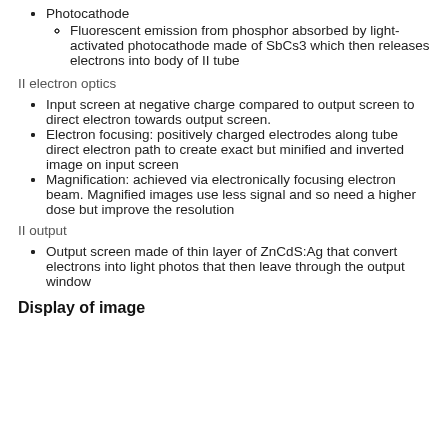Photocathode
Fluorescent emission from phosphor absorbed by light-activated photocathode made of SbCs3 which then releases electrons into body of II tube
II electron optics
Input screen at negative charge compared to output screen to direct electron towards output screen.
Electron focusing: positively charged electrodes along tube direct electron path to create exact but minified and inverted image on input screen
Magnification: achieved via electronically focusing electron beam. Magnified images use less signal and so need a higher dose but improve the resolution
II output
Output screen made of thin layer of ZnCdS:Ag that convert electrons into light photos that then leave through the output window
Display of image